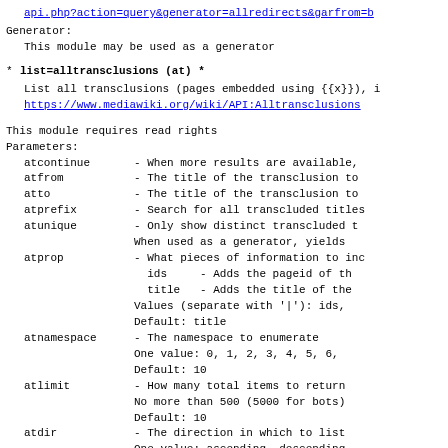Gets pages containing the redirects: api.php?action=query&generator=allredirects&garfrom=B
Generator:
  This module may be used as a generator
* list=alltransclusions (at) *
  List all transclusions (pages embedded using {{x}}), i...
  https://www.mediawiki.org/wiki/API:Alltransclusions
This module requires read rights
Parameters:
  atcontinue  - When more results are available,
  atfrom      - The title of the transclusion to
  atto        - The title of the transclusion to
  atprefix    - Search for all transcluded titles
  atunique    - Only show distinct transcluded t...
                When used as a generator, yields
  atprop      - What pieces of information to inc
                  ids   - Adds the pageid of the
                  title - Adds the title of the
                Values (separate with '|'): ids,
                Default: title
  atnamespace - The namespace to enumerate
                One value: 0, 1, 2, 3, 4, 5, 6,
                Default: 10
  atlimit     - How many total items to return
                No more than 500 (5000 for bots)
                Default: 10
  atdir       - The direction in which to list
                One value: ascending, descending
                Default: ascending